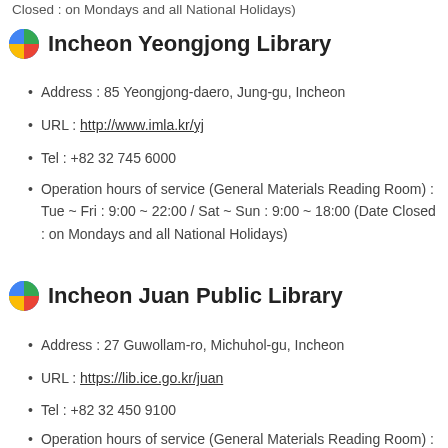Closed : on Mondays and all National Holidays)
Incheon Yeongjong Library
Address : 85 Yeongjong-daero, Jung-gu, Incheon
URL : http://www.imla.kr/yj
Tel : +82 32 745 6000
Operation hours of service (General Materials Reading Room) : Tue ~ Fri : 9:00 ~ 22:00 / Sat ~ Sun : 9:00 ~ 18:00 (Date Closed : on Mondays and all National Holidays)
Incheon Juan Public Library
Address : 27 Guwollam-ro, Michuhol-gu, Incheon
URL : https://lib.ice.go.kr/juan
Tel : +82 32 450 9100
Operation hours of service (General Materials Reading Room) :